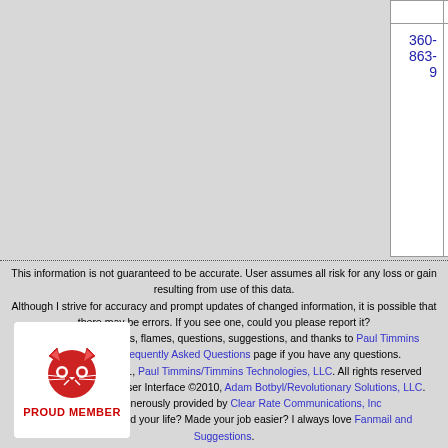| Phone | State | Company | Num |
| --- | --- | --- | --- |
|  |  |  |  |
| 360-863-9 | WA | ZIPLY FIBER NORTHWEST, LLC DBA (Verizon Communications) | 43 |
This information is not guaranteed to be accurate. User assumes all risk for any loss or gain resulting from use of this data.
Although I strive for accuracy and prompt updates of changed information, it is possible that there may be errors. If you see one, could you please report it?
Please report all errors, flames, questions, suggestions, and thanks to Paul Timmins
Please see the Frequently Asked Questions page if you have any questions.
Copyright ©2001-2021, Paul Timmins/Timmins Technologies, LLC. All rights reserved
Website Design and User Interface ©2010, Adam Botbyl/Revolutionary Solutions, LLC.
Colocation generously provided by Clear Rate Communications, Inc
Has this site changed your life? Made your job easier? I always love Fanmail and Suggestions.
[Figure (logo): Red cat face logo with text PROUD MEMBER below it]